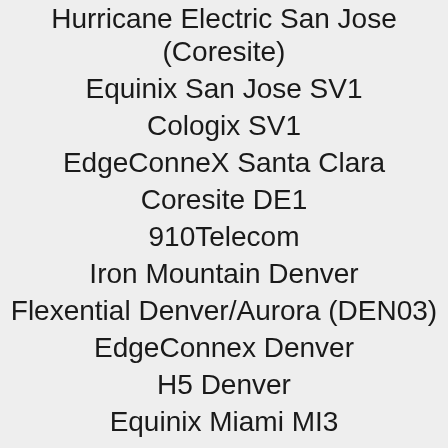Hurricane Electric San Jose (Coresite)
Equinix San Jose SV1
Cologix SV1
EdgeConneX Santa Clara
Coresite DE1
910Telecom
Iron Mountain Denver
Flexential Denver/Aurora (DEN03)
EdgeConnex Denver
H5 Denver
Equinix Miami MI3
GoRACK 421
Cologix JAX1
Equinix Miami MI1/NOTA